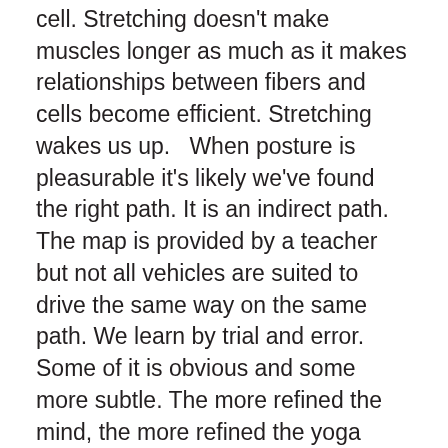cell. Stretching doesn't make muscles longer as much as it makes relationships between fibers and cells become efficient. Stretching wakes us up.   When posture is pleasurable it's likely we've found the right path. It is an indirect path. The map is provided by a teacher but not all vehicles are suited to drive the same way on the same path. We learn by trial and error. Some of it is obvious and some more subtle. The more refined the mind, the more refined the yoga practice which results in greater awareness of the unseen. One thing is for sure. If there is pain, sorrow or anger, the relationship is off. And that bad relationship takes its toll on parts that had no part in creating the problem.   When there is discomfort in a relationship it's helpful to look at the forces